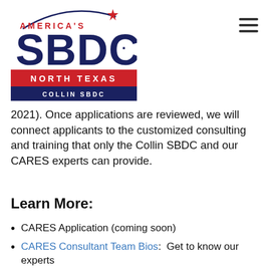[Figure (logo): America's SBDC North Texas Collin SBDC logo with red and navy blue colors]
2021). Once applications are reviewed, we will connect applicants to the customized consulting and training that only the Collin SBDC and our CARES experts can provide.
Learn More:
CARES Application (coming soon)
CARES Consultant Team Bios:  Get to know our experts
CARES Seminar Series:  Schedule the seminars important for your business
Collin SBDC Blogs:  Learn how to increase